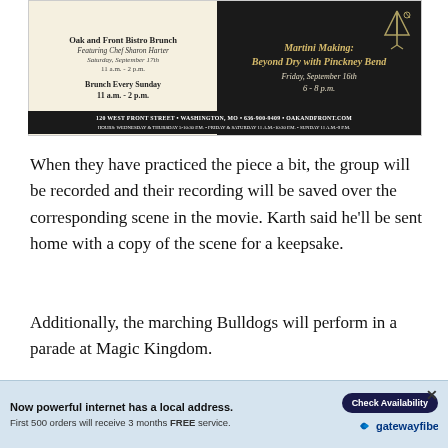[Figure (infographic): Advertisement for Oak and Front Bistro Brunch featuring Chef Sharon Harter on Saturday September 17th 11am-2pm and Brunch Every Sunday 11am-2pm, alongside a Martini Making event Beyond Dry with Pinckney Bend on Friday September 16th 6-8pm. Address: 120 West Front Street, Washington, MO 636-900-9409 oakandfront.com]
When they have practiced the piece a bit, the group will be recorded and their recording will be saved over the corresponding scene in the movie. Karth said he'll be sent home with a copy of the scene for a keepsake.
Additionally, the marching Bulldogs will perform in a parade at Magic Kingdom.
This is Karth's fourth time making the trip with St. Clair R-XIII and Karth said he is excited that nearly the entire band is making the trip this year. To make it possible, Karth and the bar... age
[Figure (infographic): Overlay advertisement: Now powerful internet has a local address. First 500 orders will receive 3 months FREE service. Check Availability button. Gatewayfiber logo.]